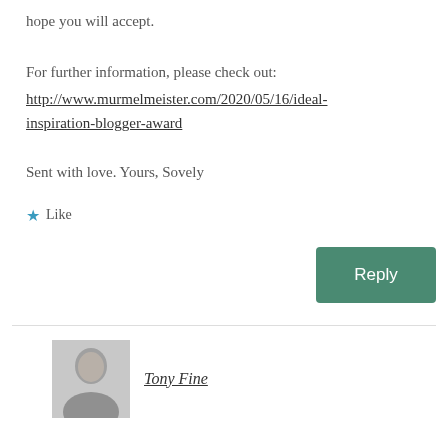hope you will accept.
For further information, please check out:
http://www.murmelmeister.com/2020/05/16/ideal-inspiration-blogger-award
Sent with love. Yours, Sovely
★ Like
[Figure (other): Green Reply button]
Tony Fine